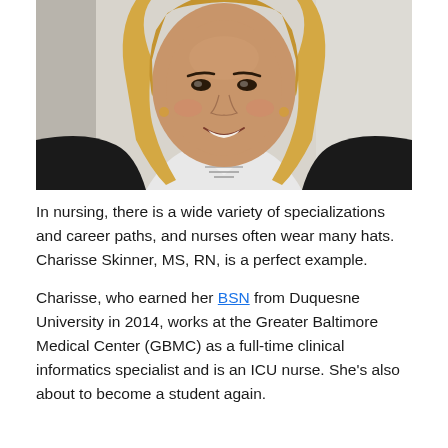[Figure (photo): Headshot photo of Charisse Skinner, a woman with long wavy blonde hair, smiling, wearing a black jacket over a striped shirt, against a light gray background.]
In nursing, there is a wide variety of specializations and career paths, and nurses often wear many hats. Charisse Skinner, MS, RN, is a perfect example.
Charisse, who earned her BSN from Duquesne University in 2014, works at the Greater Baltimore Medical Center (GBMC) as a full-time clinical informatics specialist and is an ICU nurse. She's also about to become a student again.